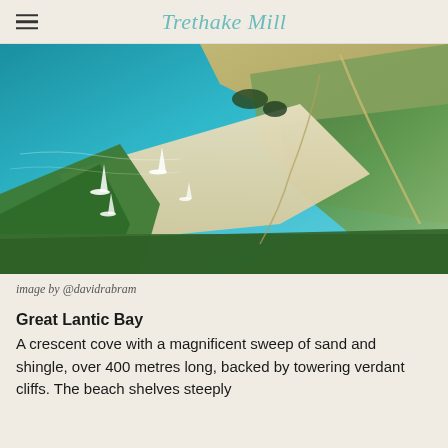Trethake Mill
[Figure (photo): Aerial photograph of Great Lantic Bay, Cornwall, showing turquoise sea with sailing boats, a wide crescent beach of white sand and shingle, and verdant green cliffs and coastal footpaths.]
image by @davidrabram
Great Lantic Bay
A crescent cove with a magnificent sweep of sand and shingle, over 400 metres long, backed by towering verdant cliffs. The beach shelves steeply